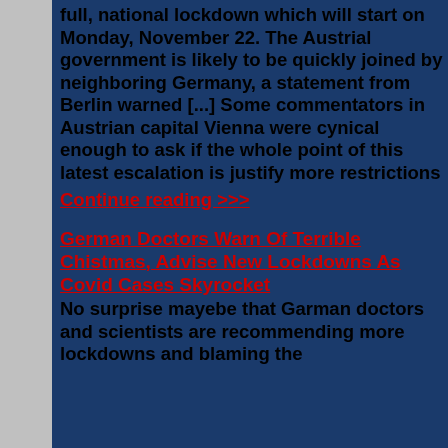full, national lockdown which will start on Monday, November 22. The Austrial government is likely to be quickly joined by neighboring Germany, a statement from Berlin warned [...] Some commentators in Austrian capital Vienna were cynical enough to ask if the whole point of this latest escalation is justify more restrictions
Continue reading >>>
German Doctors Warn Of Terrible Chistmas, Advise New Lockdowns As Covid Cases Skyrocket
No surprise mayebe that Garman doctors and scientists are recommending more lockdowns and blaming the